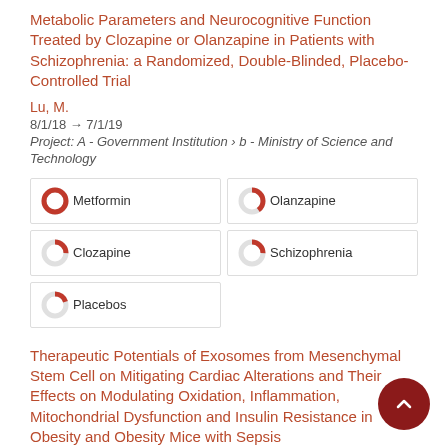Metabolic Parameters and Neurocognitive Function Treated by Clozapine or Olanzapine in Patients with Schizophrenia: a Randomized, Double-Blinded, Placebo-Controlled Trial
Lu, M.
8/1/18 → 7/1/19
Project: A - Government Institution › b - Ministry of Science and Technology
100% Metformin
40% Olanzapine
25% Clozapine
25% Schizophrenia
20% Placebos
Therapeutic Potentials of Exosomes from Mesenchymal Stem Cell on Mitigating Cardiac Alterations and Their Effects on Modulating Oxidation, Inflammation, Mitochondrial Dysfunction and Insulin Resistance in Obesity and Obesity Mice with Sepsis